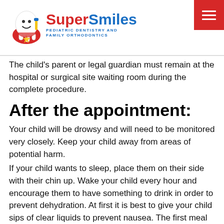[Figure (logo): Super Smiles Pediatric Dentistry and Family Orthodontics logo with cartoon tooth mascot]
The child's parent or legal guardian must remain at the hospital or surgical site waiting room during the complete procedure.
After the appointment:
Your child will be drowsy and will need to be monitored very closely. Keep your child away from areas of potential harm.
If your child wants to sleep, place them on their side with their chin up. Wake your child every hour and encourage them to have something to drink in order to prevent dehydration. At first it is best to give your child sips of clear liquids to prevent nausea. The first meal should be light and easily digestible.
If your child vomits, help them bend over and turn their